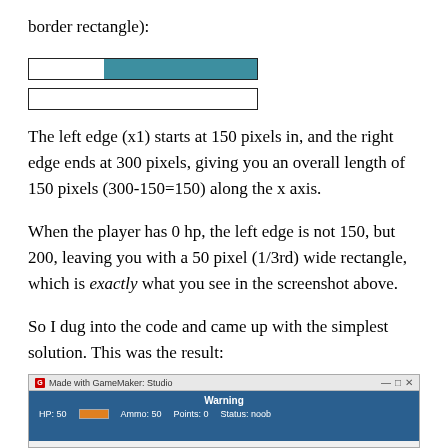border rectangle):
[Figure (illustration): Two horizontal bar diagrams: first bar has a white left portion and a teal/dark-cyan right portion within a bordered rectangle; second bar is an empty bordered rectangle (all white).]
The left edge (x1) starts at 150 pixels in, and the right edge ends at 300 pixels, giving you an overall length of 150 pixels (300-150=150) along the x axis.
When the player has 0 hp, the left edge is not 150, but 200, leaving you with a 50 pixel (1/3rd) wide rectangle, which is exactly what you see in the screenshot above.
So I dug into the code and came up with the simplest solution. This was the result:
[Figure (screenshot): Screenshot of a GameMaker: Studio window titled 'Made with GameMaker: Studio' showing a Warning message and a HUD with HP: 50, an orange bar, Ammo: 50, Points: 0, Status: noob.]